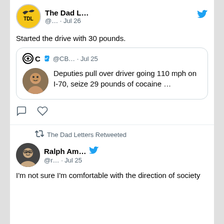[Figure (screenshot): Twitter/X feed screenshot showing two tweets. First tweet from The Dad Letters (@...) on Jul 26 saying 'Started the drive with 30 pounds.' with a quoted tweet from @CB... on Jul 25: 'Deputies pull over driver going 110 mph on I-70, seize 29 pounds of cocaine ...' Second tweet is a retweet by The Dad Letters of Ralph Am... (@r...) on Jul 25 saying 'I'm not sure I'm comfortable with the direction of society']